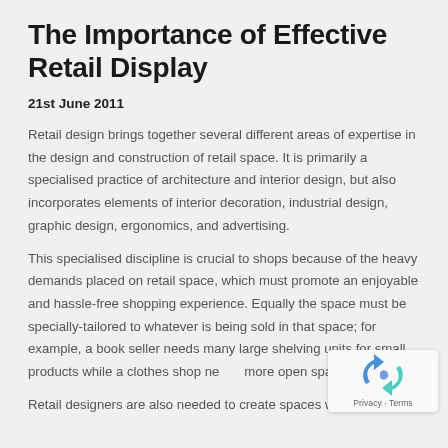The Importance of Effective Retail Display
21st June 2011
Retail design brings together several different areas of expertise in the design and construction of retail space. It is primarily a specialised practice of architecture and interior design, but also incorporates elements of interior decoration, industrial design, graphic design, ergonomics, and advertising.
This specialised discipline is crucial to shops because of the heavy demands placed on retail space, which must promote an enjoyable and hassle-free shopping experience. Equally the space must be specially-tailored to whatever is being sold in that space; for example, a book seller needs many large shelving units for small products while a clothes shop needs more open space.
Retail designers are also needed to create spaces which draw